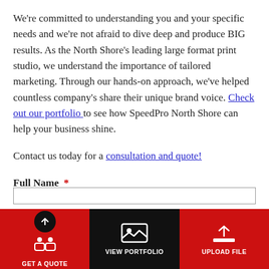We're committed to understanding you and your specific needs and we're not afraid to dive deep and produce BIG results. As the North Shore's leading large format print studio, we understand the importance of tailored marketing. Through our hands-on approach, we've helped countless company's share their unique brand voice. Check out our portfolio to see how SpeedPro North Shore can help your business shine.
Contact us today for a consultation and quote!
Full Name *
[Figure (infographic): Bottom navigation bar with three items: GET A QUOTE (red background, circular upload icon), VIEW PORTFOLIO (black background, image icon), UPLOAD FILE (red background, upload icon)]